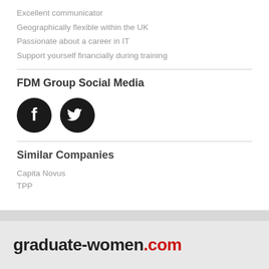Excellent communicator
Geographically flexible within the UK
Passionate about a career in IT
Support yourself financially during training
FDM Group Social Media
[Figure (illustration): Facebook and Twitter social media icons as black circles with white logos]
Similar Companies
Capita Novus
TPP
graduate-women.com